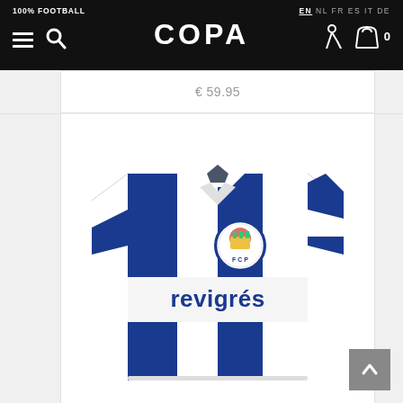100% FOOTBALL | COPA | EN NL FR ES IT DE
€ 59.95
[Figure (photo): FC Porto retro football shirt with blue and white vertical stripes, FCP club badge on chest, white collar, short sleeves, and 'revigres' sponsor text on front]